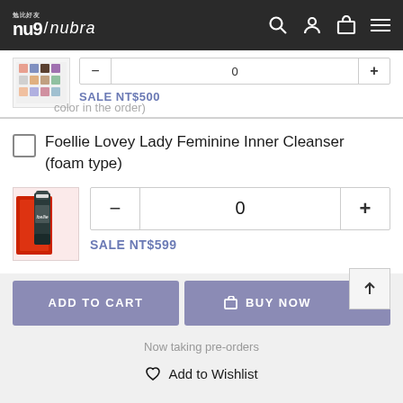nu9 / nubra
[Figure (screenshot): Small product thumbnail images showing colorful product variants]
SALE NT$500
Foellie Lovey Lady Feminine Inner Cleanser (foam type)
[Figure (photo): Foellie Lovey Lady Feminine Inner Cleanser product bottle with red box packaging]
0
SALE NT$599
ADD TO CART
BUY NOW
Now taking pre-orders
Add to Wishlist